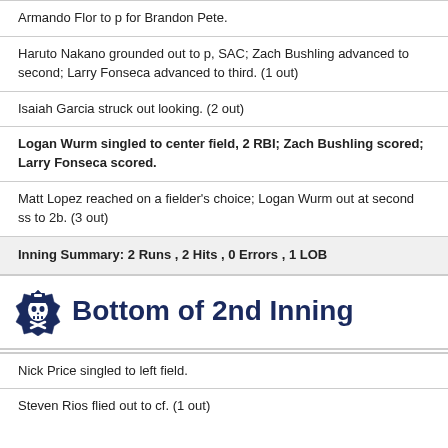Armando Flor to p for Brandon Pete.
Haruto Nakano grounded out to p, SAC; Zach Bushling advanced to second; Larry Fonseca advanced to third. (1 out)
Isaiah Garcia struck out looking. (2 out)
Logan Wurm singled to center field, 2 RBI; Zach Bushling scored; Larry Fonseca scored.
Matt Lopez reached on a fielder's choice; Logan Wurm out at second ss to 2b. (3 out)
Inning Summary: 2 Runs , 2 Hits , 0 Errors , 1 LOB
Bottom of 2nd Inning
Nick Price singled to left field.
Steven Rios flied out to cf. (1 out)